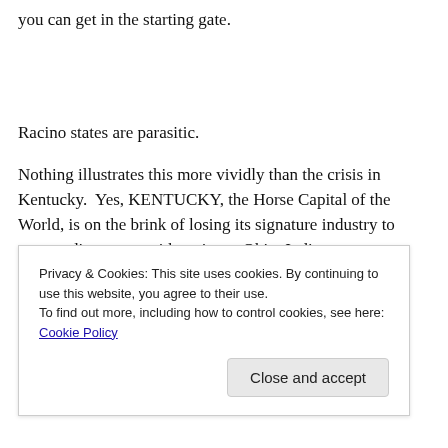you can get in the starting gate.
Racino states are parasitic.
Nothing illustrates this more vividly than the crisis in Kentucky.  Yes, KENTUCKY, the Horse Capital of the World, is on the brink of losing its signature industry to surrounding states with racinos.  Ohio, Indiana, Pennsylvania, and West Virginia are seeing an influx of
Privacy & Cookies: This site uses cookies. By continuing to use this website, you agree to their use.
To find out more, including how to control cookies, see here: Cookie Policy
Close and accept